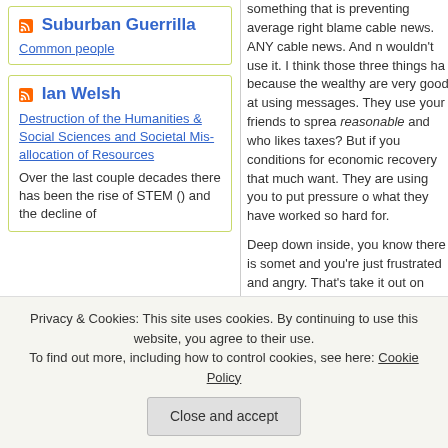Suburban Guerrilla
Common people
Ian Welsh
Destruction of the Humanities & Social Sciences and Societal Mis-allocation of Resources
Over the last couple decades there has been the rise of STEM () and the decline of
something that is preventing average right blame cable news. ANY cable news. And n wouldn't use it. I think those three things ha because the wealthy are very good at using messages. They use your friends to sprea reasonable and who likes taxes? But if you conditions for economic recovery that much want. They are using you to put pressure o what they have worked so hard for.
Deep down inside, you know there is somet and you're just frustrated and angry. That's take it out on other working people. If you c job creators, they are the economy destroye
They are not nice people. They've already again until you stop them. Why would you w selfish, cruel. they lie, they are careless. T don't want you in their club. They take grea
Privacy & Cookies: This site uses cookies. By continuing to use this website, you agree to their use.
To find out more, including how to control cookies, see here: Cookie Policy
Close and accept